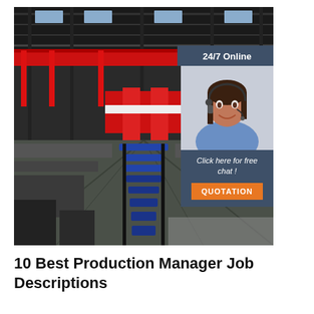[Figure (photo): Large industrial factory interior with red overhead crane, blue conveyor/roller system on the floor, concrete floor, steel structure ceiling with skylights. Overlaid with a sidebar ad showing a woman with headset, text '24/7 Online', 'Click here for free chat!', and 'QUOTATION' button.]
10 Best Production Manager Job Descriptions